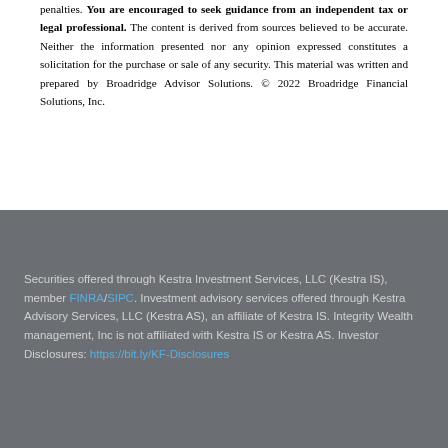penalties. You are encouraged to seek guidance from an independent tax or legal professional. The content is derived from sources believed to be accurate. Neither the information presented nor any opinion expressed constitutes a solicitation for the purchase or sale of any security. This material was written and prepared by Broadridge Advisor Solutions. © 2022 Broadridge Financial Solutions, Inc.
Securities offered through Kestra Investment Services, LLC (Kestra IS), member FINRA/SIPC. Investment advisory services offered through Kestra Advisory Services, LLC (Kestra AS), an affiliate of Kestra IS. Integrity Wealth management, Inc is not affiliated with Kestra IS or Kestra AS. Investor Disclosures: https://bit.ly/KF-Disclosures